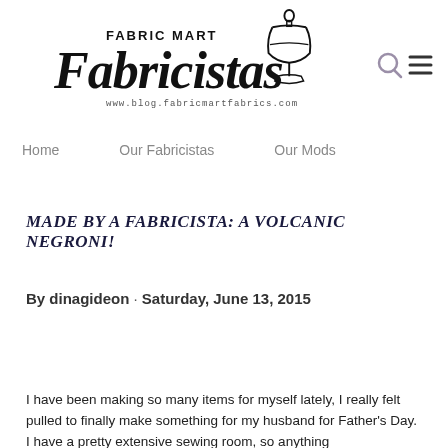[Figure (logo): Fabric Mart Fabricistas blog logo with dress form silhouette and cursive script text, www.blog.fabricmartfabrics.com]
Home  Our Fabricistas  Our Mods
MADE BY A FABRICISTA: A VOLCANIC NEGRONI!
By dinagideon · Saturday, June 13, 2015
I have been making so many items for myself lately, I really felt pulled to finally make something for my husband for Father's Day. I have a pretty extensive sewing room, so anything...